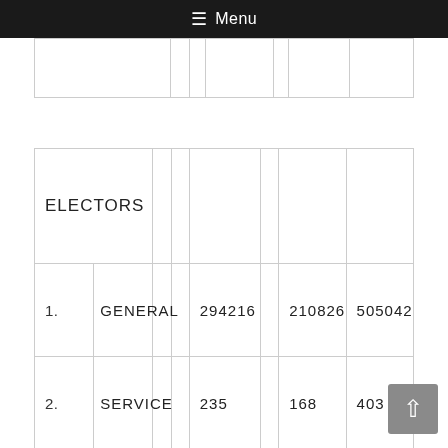Menu
|  |  |  |  |  |  |  |
| ELECTORS |  |  |  |  |  |  |
| 1. | GENERAL |  | 294216 |  | 210826 | 505042 |
| 2. | SERVICE |  | 235 |  | 168 | 403 |
| 3. | TOTAL |  | 294451 |  | 210994 | 505445 |